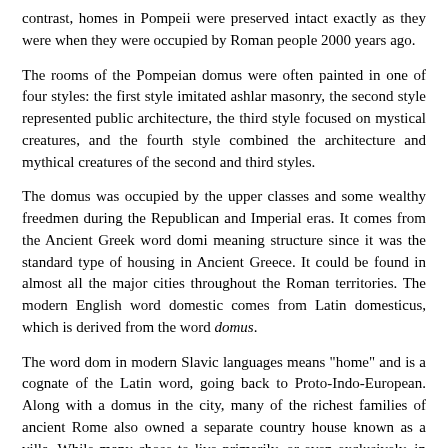contrast, homes in Pompeii were preserved intact exactly as they were when they were occupied by Roman people 2000 years ago.
The rooms of the Pompeian domus were often painted in one of four styles: the first style imitated ashlar masonry, the second style represented public architecture, the third style focused on mystical creatures, and the fourth style combined the architecture and mythical creatures of the second and third styles.
The domus was occupied by the upper classes and some wealthy freedmen during the Republican and Imperial eras. It comes from the Ancient Greek word domi meaning structure since it was the standard type of housing in Ancient Greece. It could be found in almost all the major cities throughout the Roman territories. The modern English word domestic comes from Latin domesticus, which is derived from the word domus.
The word dom in modern Slavic languages means "home" and is a cognate of the Latin word, going back to Proto-Indo-European. Along with a domus in the city, many of the richest families of ancient Rome also owned a separate country house known as a villa. While many chose to live primarily, or even exclusively, in their villas, these homes were generally much grander in scale and on larger acres of land due to more space outside the walled and fortified city.